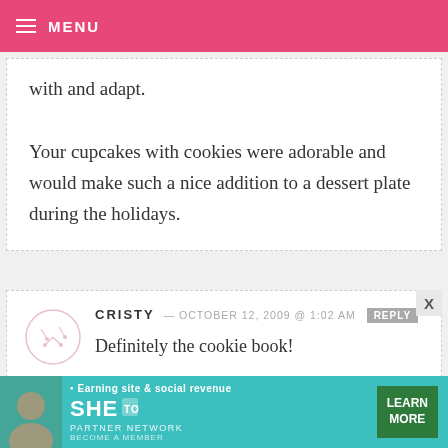MENU
with and adapt.

Your cupcakes with cookies were adorable and would make such a nice addition to a dessert plate during the holidays.
CRISTY — OCTOBER 12, 2009 @ 1:02 AM REPLY

Definitely the cookie book!

I made snickerdoodles just a few weeks ago. We made them as a family
[Figure (other): Advertisement banner for SHE Partner Network — Earning site & social revenue. Teal background with woman photo, SHE logo, LEARN MORE button.]